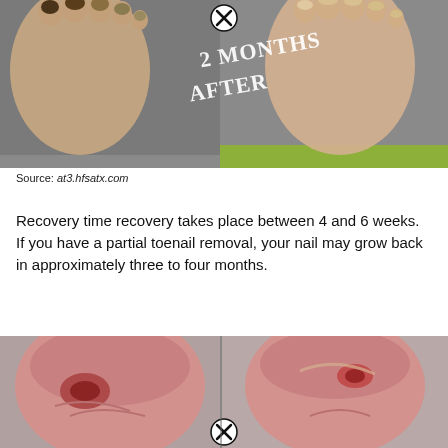[Figure (photo): Before and after comparison of toenails, labeled '2 MONTHS AFTER'. Left foot shows discolored/fungal toenails, right foot shows healthier nails. A circular X icon appears at the top center. Background is gray.]
Source: at3.hfsatx.com
Recovery time recovery takes place between 4 and 6 weeks. If you have a partial toenail removal, your nail may grow back in approximately three to four months.
[Figure (photo): Two close-up photos of toes showing post-toenail removal wounds. Left image shows an open wound/lesion at the nail bed. Right image shows a similar wound further along healing. A circular X icon appears between them at the bottom center.]